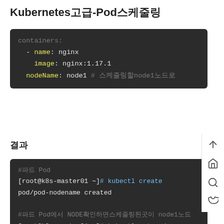Kubernetes고급-Pod스케줄링
[Figure (screenshot): Dark terminal/code block showing YAML config with name: nginx, image: nginx:1.17.1, nodeName: node1 with comment about specifying node1]
결과
[Figure (screenshot): Dark terminal block showing kubectl create pod/pod-nodename created, then kubectl get pod showing NAME READY STATUS RESTA columns with pod-nodename 1/1 Running 0]